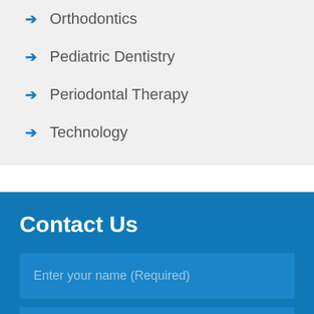Orthodontics
Pediatric Dentistry
Periodontal Therapy
Technology
Contact Us
Enter your name (Required)
Enter email (Required)